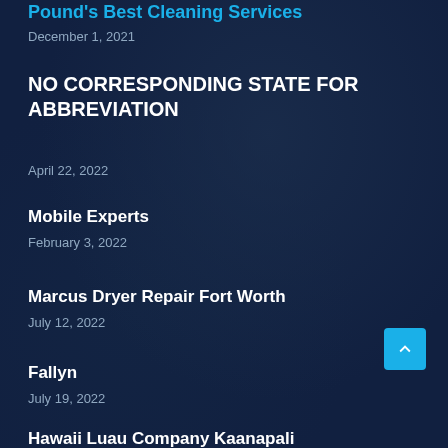Pound's Best Cleaning Services
December 1, 2021
NO CORRESPONDING STATE FOR ABBREVIATION
April 22, 2022
Mobile Experts
February 3, 2022
Marcus Dryer Repair Fort Worth
July 12, 2022
Fallyn
July 19, 2022
Hawaii Luau Company Kaanapali